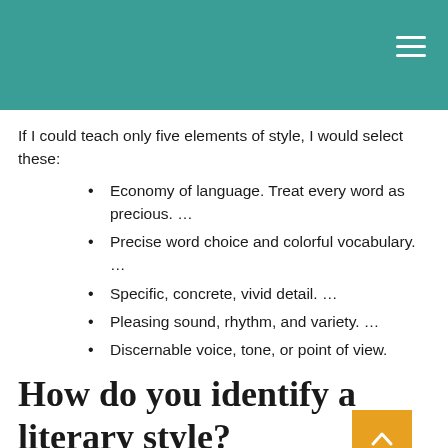If I could teach only five elements of style, I would select these:
Economy of language. Treat every word as precious. …
Precise word choice and colorful vocabulary. …
Specific, concrete, vivid detail. …
Pleasing sound, rhythm, and variety. …
Discernable voice, tone, or point of view.
How do you identify a literary style?
Key Aspects in Analyzing an Author's Style
sentence length, structure, variation, and position.
the use of sensory details, figurative language, and